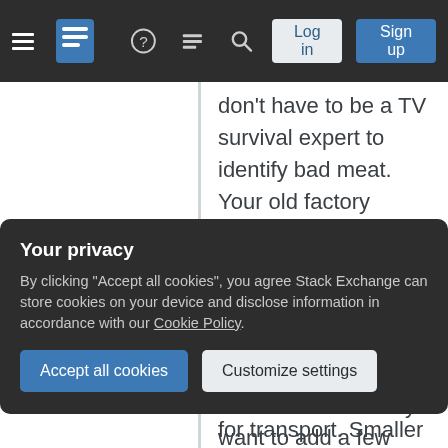Stack Exchange navigation with hamburger menu, logo, help, chat, search, Log in, Sign up buttons
don't have to be a TV survival expert to identify bad meat. Your old factory sensors will let you know… along with your gag reflex.
8. Collection and Processing Tips
Our vehicles are prepared with Get Home Kits. You may want to add a few items to it or build a separate Roadkill Kit. My kit is simple and includes:
Your privacy
By clicking "Accept all cookies", you agree Stack Exchange can store cookies on your device and disclose information in accordance with our Cookie Policy.
Accept all cookies
Customize settings
for transport. Smaller animals usually go in